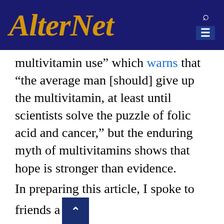AlterNet
multivitamin use" which warns that "the average man [should] give up the multivitamin, at least until scientists solve the puzzle of folic acid and cancer," but the enduring myth of multivitamins shows that hope is stronger than evidence.
In preparing this article, I spoke to friends and acquaintances, several of whom hold doctoral degrees, though only one in science or medicine. Most were conscientious consumers of vitamins, and even when I presented them